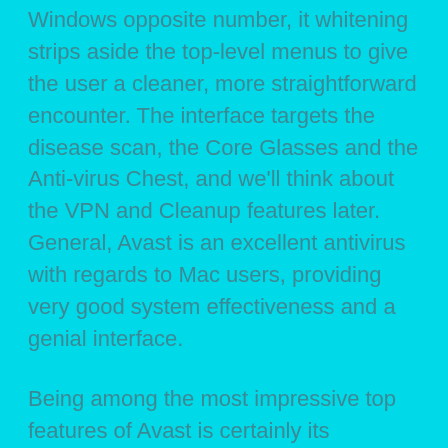Windows opposite number, it whitening strips aside the top-level menus to give the user a cleaner, more straightforward encounter. The interface targets the disease scan, the Core Glasses and the Anti-virus Chest, and we'll think about the VPN and Cleanup features later. General, Avast is an excellent antivirus with regards to Mac users, providing very good system effectiveness and a genial interface.
Being among the most impressive top features of Avast is certainly its effectiveness in AV-Comparatives' Real-World Safeguard Test, exactly where it was able to eliminate over 75% of malicious selections. The anti-virus as well removed most potentially hazardous files before that they could self-install. The company demands to have 4 hundred million users worldwide. This kind of impressive amount is remarkable,